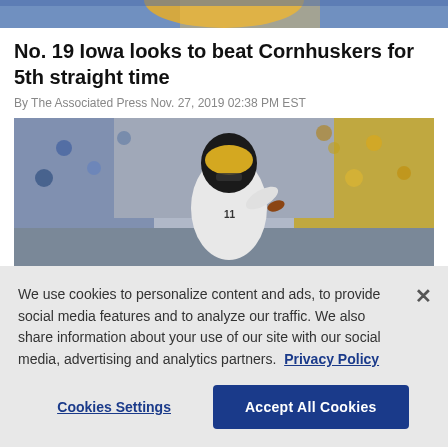[Figure (photo): Top partial photo of a sports player in yellow/blue uniform, cropped at top of page]
No. 19 Iowa looks to beat Cornhuskers for 5th straight time
By The Associated Press Nov. 27, 2019 02:38 PM EST
[Figure (photo): Iowa Hawkeyes quarterback in black and gold uniform dropping back to pass, surrounded by a colorful crowd of fans in stadium stands]
We use cookies to personalize content and ads, to provide social media features and to analyze our traffic. We also share information about your use of our site with our social media, advertising and analytics partners. Privacy Policy
Cookies Settings   Accept All Cookies